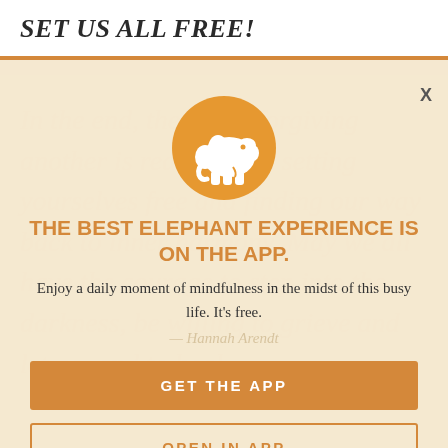SET US ALL FREE!
[Figure (screenshot): App promotion modal overlay with orange elephant logo circle, headline 'THE BEST ELEPHANT EXPERIENCE IS ON THE APP.', subtext about mindfulness, and two buttons: GET THE APP and OPEN IN APP. Background shows faded italic text from a quote and Hannah Arendt signature.]
THE BEST ELEPHANT EXPERIENCE IS ON THE APP.
Enjoy a daily moment of mindfulness in the midst of this busy life. It's free.
GET THE APP
OPEN IN APP